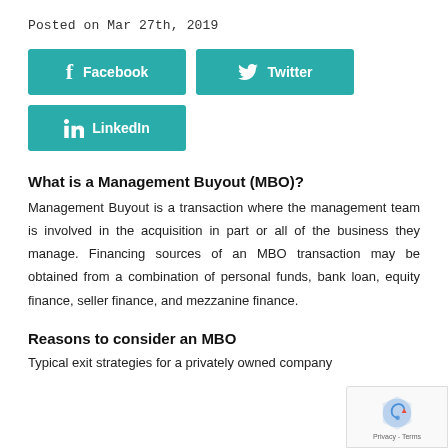Posted on Mar 27th, 2019
[Figure (other): Social share buttons: Facebook, Twitter, LinkedIn]
What is a Management Buyout (MBO)?
Management Buyout is a transaction where the management team is involved in the acquisition in part or all of the business they manage. Financing sources of an MBO transaction may be obtained from a combination of personal funds, bank loan, equity finance, seller finance, and mezzanine finance.
Reasons to consider an MBO
Typical exit strategies for a privately owned company